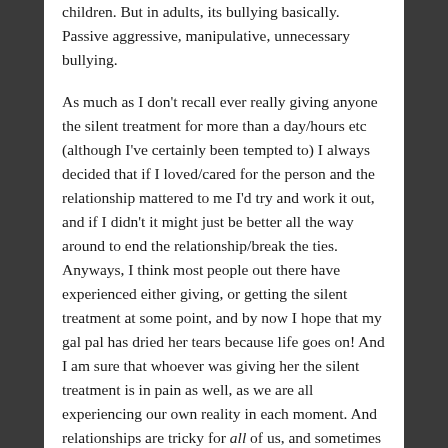children. But in adults, its bullying basically. Passive aggressive, manipulative, unnecessary bullying.
As much as I don't recall ever really giving anyone the silent treatment for more than a day/hours etc (although I've certainly been tempted to) I always decided that if I loved/cared for the person and the relationship mattered to me I'd try and work it out, and if I didn't it might just be better all the way around to end the relationship/break the ties. Anyways, I think most people out there have experienced either giving, or getting the silent treatment at some point, and by now I hope that my gal pal has dried her tears because life goes on! And I am sure that whoever was giving her the silent treatment is in pain as well, as we are all experiencing our own reality in each moment. And relationships are tricky for all of us, and sometimes we just don't know what to do, or how to respond. I don't think that everyone who gives the cold shoulder does so to purposefully hurt others. I think that it might be a way of protecting themselves as well, but maybe learning what it actually does to the brain might make someone go about things a little differently. Or I